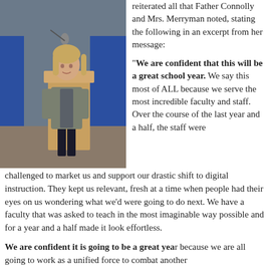[Figure (photo): A woman standing at a wooden podium with a cross on it, speaking at a microphone. Blue curtains or panels visible in the background.]
reiterated all that Father Connolly and Mrs. Merryman noted, stating the following in an excerpt from her message:

"We are confident that this will be a great school year. We say this most of ALL because we serve the most incredible faculty and staff. Over the course of the last year and a half, the staff were challenged to market us and support our drastic shift to digital instruction. They kept us relevant, fresh at a time when people had their eyes on us wondering what we'd were going to do next. We have a faculty that was asked to teach in the most imaginable way possible and for a year and a half made it look effortless.
We are confident it is going to be a great year because we are all going to work as a unified force to combat another